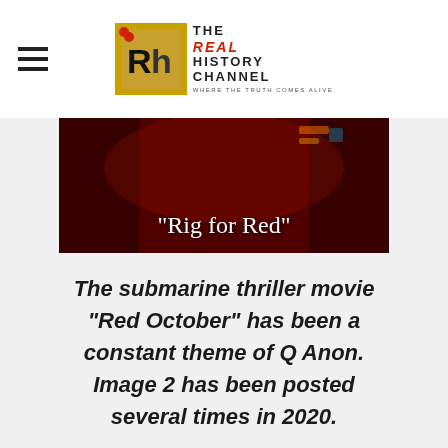THE REAL HISTORY CHANNEL — WHERE THE TRUTH COMES ALIVE
[Figure (photo): Dark red-tinted submarine interior scene with the text 'Rig for Red' overlaid in white serif font]
The submarine thriller movie "Red October" has been a constant theme of Q Anon. Image 2 has been posted several times in 2020.